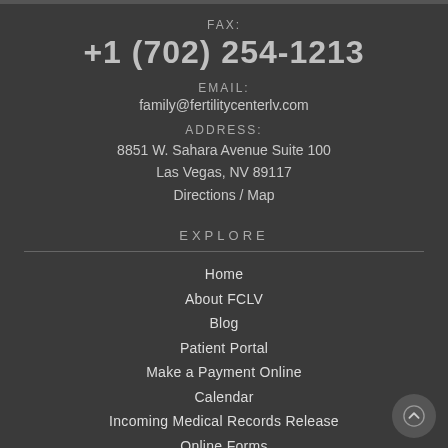FAX:
+1 (702) 254-1213
EMAIL:
family@fertilitycenterlv.com
ADDRESS:
8851 W. Sahara Avenue Suite 100
Las Vegas, NV 89117
Directions / Map
EXPLORE
Home
About FCLV
Blog
Patient Portal
Make a Payment Online
Calendar
Incoming Medical Records Release
Online Forms